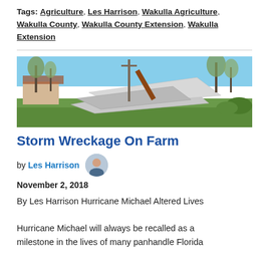Tags: Agriculture, Les Harrison, Wakulla Agriculture, Wakulla County, Wakulla County Extension, Wakulla Extension
[Figure (photo): Storm damage on a farm showing crumpled metal roofing sheets collapsed near a building, with bare trees and blue sky in background]
Storm Wreckage On Farm
by Les Harrison — November 2, 2018
By Les Harrison Hurricane Michael Altered Lives Hurricane Michael will always be recalled as a milestone in the lives of many panhandle Florida